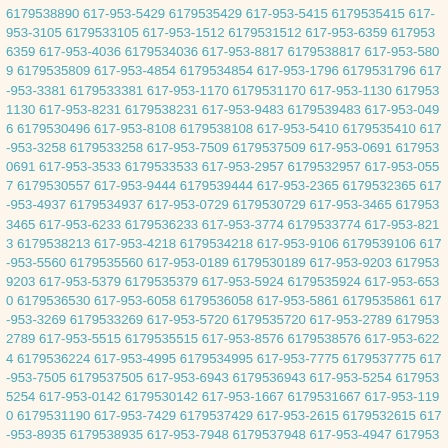6179538890 617-953-5429 6179535429 617-953-5415 6179535415 617-953-3105 6179533105 617-953-1512 6179531512 617-953-6359 6179536359 617-953-4036 6179534036 617-953-8817 6179538817 617-953-5809 6179535809 617-953-4854 6179534854 617-953-1796 6179531796 617-953-3381 6179533381 617-953-1170 6179531170 617-953-1130 6179531130 617-953-8231 6179538231 617-953-9483 6179539483 617-953-0496 6179530496 617-953-8108 6179538108 617-953-5410 6179535410 617-953-3258 6179533258 617-953-7509 6179537509 617-953-0691 6179530691 617-953-3533 6179533533 617-953-2957 6179532957 617-953-0557 6179530557 617-953-9444 6179539444 617-953-2365 6179532365 617-953-4937 6179534937 617-953-0729 6179530729 617-953-3465 6179533465 617-953-6233 6179536233 617-953-3774 6179533774 617-953-8213 6179538213 617-953-4218 6179534218 617-953-9106 6179539106 617-953-5560 6179535560 617-953-0189 6179530189 617-953-9203 6179539203 617-953-5379 6179535379 617-953-5924 6179535924 617-953-6530 6179536530 617-953-6058 6179536058 617-953-5861 6179535861 617-953-3269 6179533269 617-953-5720 6179535720 617-953-2789 6179532789 617-953-5515 6179535515 617-953-8576 6179538576 617-953-6224 6179536224 617-953-4995 6179534995 617-953-7775 6179537775 617-953-7505 6179537505 617-953-6943 6179536943 617-953-5254 6179535254 617-953-0142 6179530142 617-953-1667 6179531667 617-953-1190 6179531190 617-953-7429 6179537429 617-953-2615 6179532615 617-953-8935 6179538935 617-953-7948 6179537948 617-953-4947 6179534947 617-953-6109 6179536109 617-953-7175 6179537175 617-953-3438 6179533438 617-953-0701 6179530701 617-953-3066 6179530066 617-953-0045 6179530045